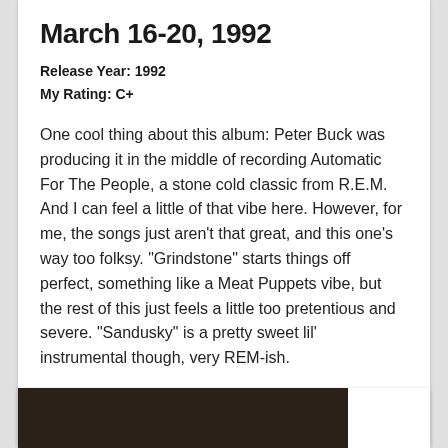March 16-20, 1992
Release Year: 1992
My Rating: C+
One cool thing about this album: Peter Buck was producing it in the middle of recording Automatic For The People, a stone cold classic from R.E.M. And I can feel a little of that vibe here. However, for me, the songs just aren't that great, and this one's way too folksy. "Grindstone" starts things off perfect, something like a Meat Puppets vibe, but the rest of this just feels a little too pretentious and severe. "Sandusky" is a pretty sweet lil' instrumental though, very REM-ish.
HIGHLIGHTS: "Grindstone", "Fatal Wound", "Sandusky"
[Figure (photo): Dark colored image, partially visible at bottom of page]